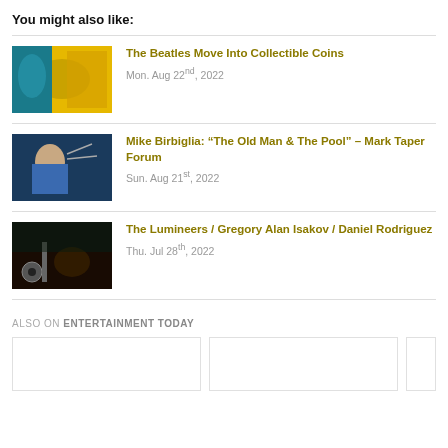You might also like:
The Beatles Move Into Collectible Coins
Mon. Aug 22nd, 2022
Mike Birbiglia: “The Old Man & The Pool” – Mark Taper Forum
Sun. Aug 21st, 2022
The Lumineers / Gregory Alan Isakov / Daniel Rodriguez
Thu. Jul 28th, 2022
ALSO ON ENTERTAINMENT TODAY